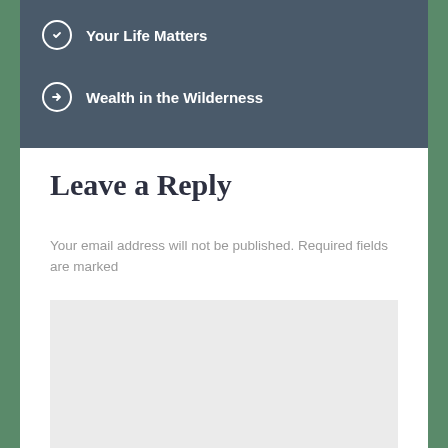Your Life Matters
Wealth in the Wilderness
Leave a Reply
Your email address will not be published. Required fields are marked